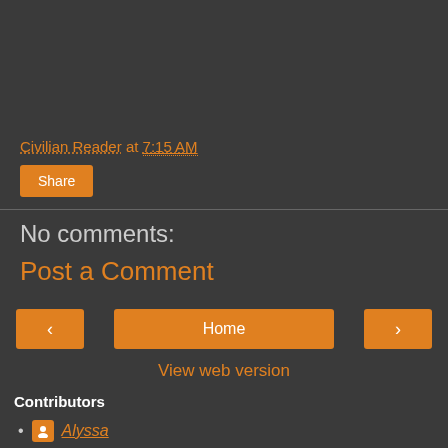Civilian Reader at 7:15 AM
Share
No comments:
Post a Comment
‹ Home ›
View web version
Contributors
Alyssa